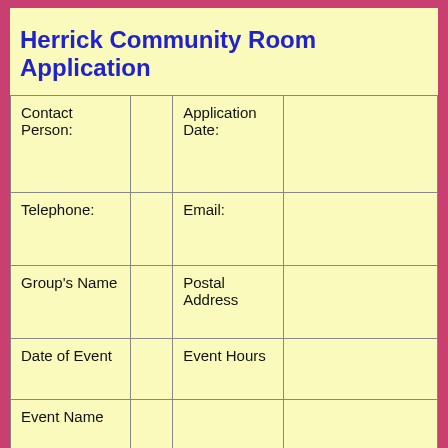Herrick Community Room Application
| Contact Person: |  | Application Date: |  |
| Telephone: |  | Email: |  |
| Group's Name |  | Postal Address |  |
| Date of Event |  | Event Hours |  |
| Event Name |  |  |  |
| Type of Event |  | Expected # of Participants |  |